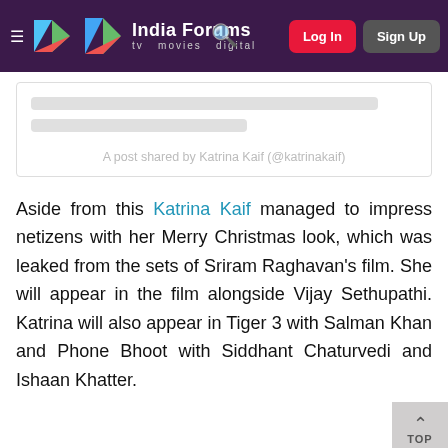India Forums — tv movies digital | Log In | Sign Up
[Figure (other): Instagram post embed placeholder with loading bars and caption: A post shared by Katrina Kaif (@katrinakaif)]
A post shared by Katrina Kaif (@katrinakaif)
Aside from this Katrina Kaif managed to impress netizens with her Merry Christmas look, which was leaked from the sets of Sriram Raghavan's film. She will appear in the film alongside Vijay Sethupathi. Katrina will also appear in Tiger 3 with Salman Khan and Phone Bhoot with Siddhant Chaturvedi and Ishaan Khatter.